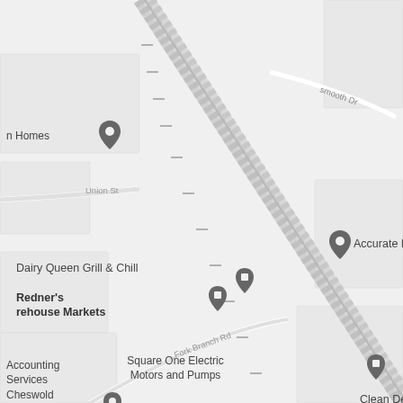[Figure (map): Google Maps street map showing area around Dover/Cheswold Delaware. Visible landmarks include: n Homes, Bilton Cottage, Exquisite Billiards Pool Table Movers and felt..., Accurate Insulation, Safelite AutoGlass, Dairy Queen Grill & Chill, Redner's rehouse Markets, Square One Electric Motors and Pumps, Glasgow Deli, Kent Plaza Discount Liquors, Dover Plumbing Supply, Clean Delaware, Cheswold ion Station, Accounting Services. Roads visible include Union St, Fork Branch Rd, Hickory Dale Dr, Dyke Branch, Logan Dr, Bush Dr, Lulu Ln, smooth Dr, Connie. Route 331 shield visible. Rail/highway running diagonally through center.]